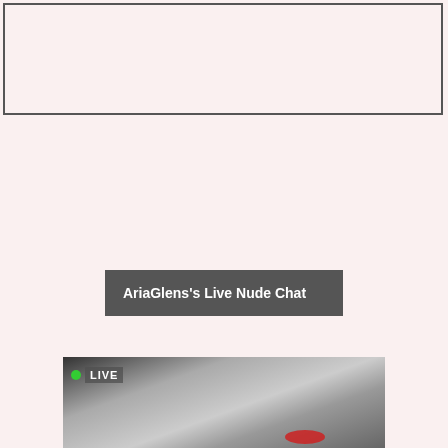[Figure (other): Empty bordered box with light pink background at top of page]
AriaGlens's Live Nude Chat
[Figure (photo): Live webcam thumbnail showing a person in grayscale with red lips, with a green dot LIVE badge overlay]